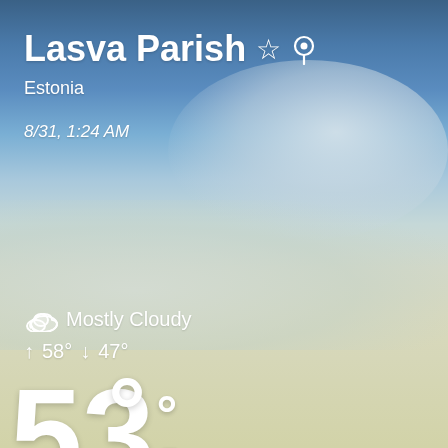[Figure (screenshot): Weather app screenshot showing a partly cloudy sky background (blue upper sky transitioning to pale yellowish-white clouds). Location is Lasva Parish, Estonia. Date/time: 8/31, 1:24 AM. Weather: Mostly Cloudy, high 58°, low 47°, current temperature 53°F.]
Lasva Parish
Estonia
8/31, 1:24 AM
Mostly Cloudy
↑  58°  ↓  47°
53° F